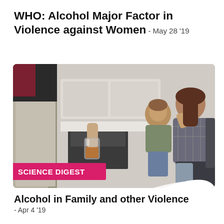WHO: Alcohol Major Factor in Violence against Women - May 28 '19
[Figure (photo): A man holding a glass of whiskey/bourbon, with a woman and child in the background looking distressed, in a kitchen setting. A pink 'SCIENCE DIGEST' label overlays the bottom-left of the image.]
Alcohol in Family and other Violence - Apr 4 '19